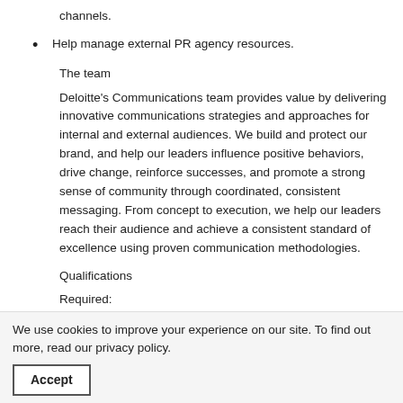channels.
Help manage external PR agency resources.
The team
Deloitte's Communications team provides value by delivering innovative communications strategies and approaches for internal and external audiences. We build and protect our brand, and help our leaders influence positive behaviors, drive change, reinforce successes, and promote a strong sense of community through coordinated, consistent messaging. From concept to execution, we help our leaders reach their audience and achieve a consistent standard of excellence using proven communication methodologies.
Qualifications
Required:
Communications professional with a minimum of 3+ years relevant experience.
A Bachelor's degree, preferably in Communications, English, Public Relations, Journalism, or Marketing Communications preferred.
We use cookies to improve your experience on our site. To find out more, read our privacy policy.